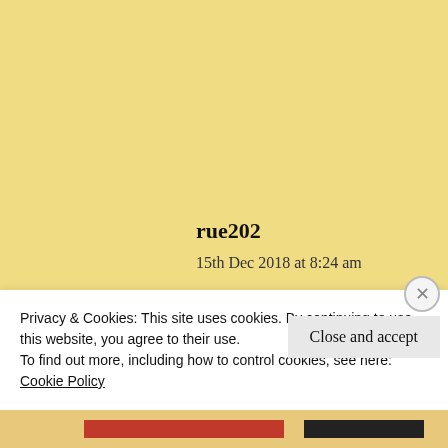rue202
15th Dec 2018 at 8:24 am
Congrats!
★ Liked by 1 person
Privacy & Cookies: This site uses cookies. By continuing to use this website, you agree to their use.
To find out more, including how to control cookies, see here:
Cookie Policy
Close and accept